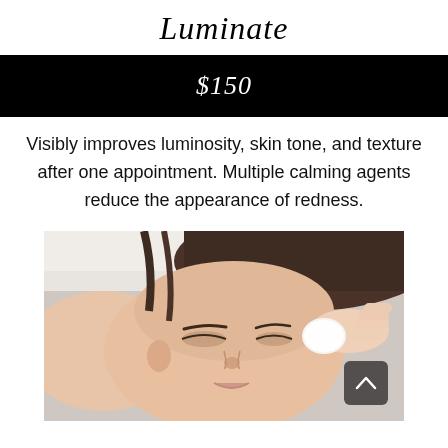Luminate
$150
Visibly improves luminosity, skin tone, and texture after one appointment. Multiple calming agents reduce the appearance of redness.
[Figure (photo): Woman lying down receiving a facial treatment, eyes closed, with hands applying a cotton pad near her eye area.]